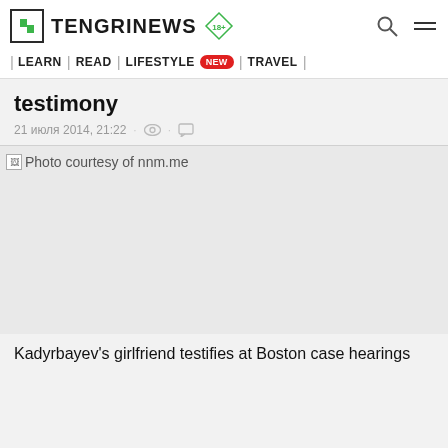TENGRINEWS 18+ | LEARN | READ | LIFESTYLE NEW | TRAVEL |
testimony
21 июля 2014, 21:22 · ·
[Figure (photo): Photo courtesy of nnm.me — broken image placeholder on light grey background]
Kadyrbayev's girlfriend testifies at Boston case hearings